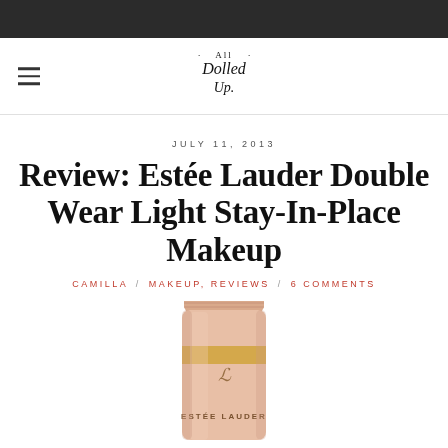All Dolled Up
JULY 11, 2013
Review: Estée Lauder Double Wear Light Stay-In-Place Makeup
CAMILLA / MAKEUP, REVIEWS / 6 COMMENTS
[Figure (photo): Estée Lauder Double Wear Light Stay-In-Place Makeup product tube, peach/nude colored, with gold stripe and Estée Lauder logo and brand name visible on the tube]